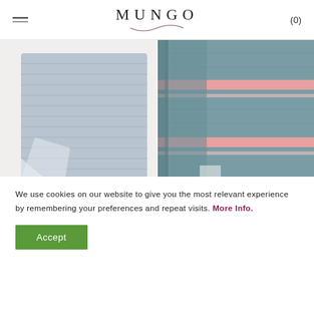MUNGO (0)
[Figure (photo): Folded light blue/grey cotton rib bath mat on a white surface, showing textured knit detail]
[Figure (photo): Emerald green and pink striped Itawuli towel hanging, showing woven stripe pattern]
Cotton Rib Bath Mat
Bleach
Itawuli
Emerald Green
We use cookies on our website to give you the most relevant experience by remembering your preferences and repeat visits. More Info.
Accept